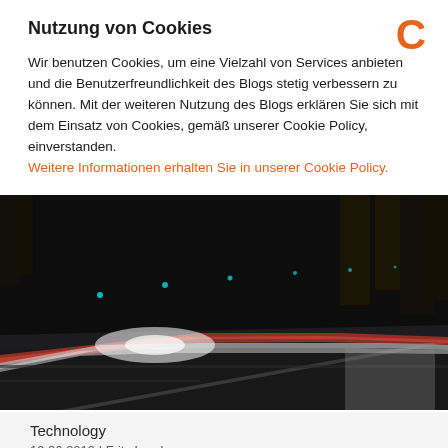Nutzung von Cookies
Wir benutzen Cookies, um eine Vielzahl von Services anbieten und die Benutzerfreundlichkeit des Blogs stetig verbessern zu können. Mit der weiteren Nutzung des Blogs erklären Sie sich mit dem Einsatz von Cookies, gemäß unserer Cookie Policy, einverstanden. Weitere Informationen erhalten Sie in unserer Cookie Policy.
[Figure (photo): Night-time long-exposure photo of a road with light trails from vehicles, trees in background, dark atmosphere]
Technology
19.06.2019 | Fritz Lorek